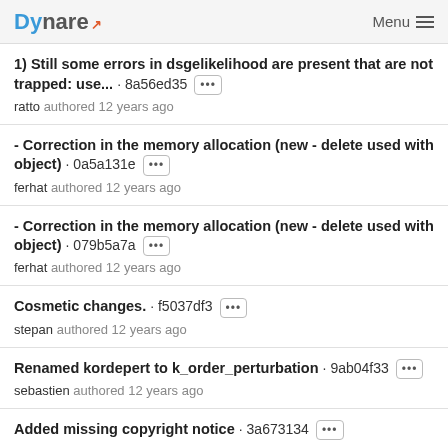Dynare  Menu
1) Still some errors in dsgelikelihood are present that are not trapped: use... · 8a56ed35 ••• ratto authored 12 years ago
- Correction in the memory allocation (new - delete used with object) · 0a5a131e ••• ferhat authored 12 years ago
- Correction in the memory allocation (new - delete used with object) · 079b5a7a ••• ferhat authored 12 years ago
Cosmetic changes. · f5037df3 ••• stepan authored 12 years ago
Renamed kordepert to k_order_perturbation · 9ab04f33 ••• sebastien authored 12 years ago
Added missing copyright notice · 3a673134 •••